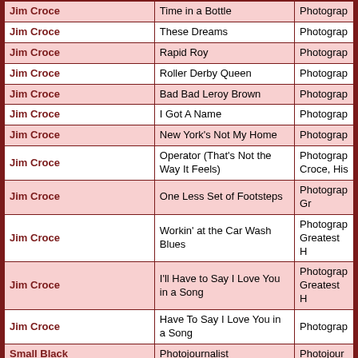| Artist | Song | Album |
| --- | --- | --- |
| Jim Croce | Time in a Bottle | Photograp… |
| Jim Croce | These Dreams | Photograp… |
| Jim Croce | Rapid Roy | Photograp… |
| Jim Croce | Roller Derby Queen | Photograp… |
| Jim Croce | Bad Bad Leroy Brown | Photograp… |
| Jim Croce | I Got A Name | Photograp… |
| Jim Croce | New York's Not My Home | Photograp… |
| Jim Croce | Operator (That's Not the Way It Feels) | Photograph… Croce, His… |
| Jim Croce | One Less Set of Footsteps | Photograp… Gr |
| Jim Croce | Workin' at the Car Wash Blues | Photograp… Greatest H… |
| Jim Croce | I'll Have to Say I Love You in a Song | Photograp… Greatest H… |
| Jim Croce | Have To Say I Love You in a Song | Photograp… |
| Small Black | Photojournalist | Photojour… |
| Olivia Newton John | Physical | Physical |
| Olivia Newton-John | Stranger's Touch | Physical |
| Led Zeppelin | Trampled Under Foot | Physical G… |